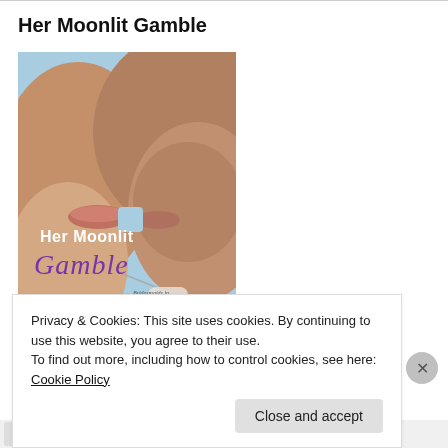Her Moonlit Gamble
[Figure (illustration): Book cover for 'Her Moonlit Gamble' — a romance novel. Shows two people about to kiss, close-up of faces and lips, with a light blue background. Text on cover reads 'Her Moonlit Gamble' in white and purple script, with subtitle 'Bridesmaids in Paradise' on a badge/tag element.]
Privacy & Cookies: This site uses cookies. By continuing to use this website, you agree to their use.
To find out more, including how to control cookies, see here: Cookie Policy
Close and accept